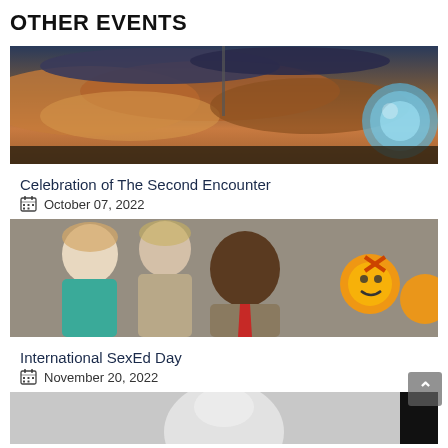OTHER EVENTS
[Figure (photo): Dramatic sky with orange and purple clouds, a tall structure in background, and a glowing blue spherical object on the right side.]
Celebration of The Second Encounter
October 07, 2022
[Figure (photo): Group of smiling people outdoors; a person in a red tie in the center; orange smiley face logos visible on the right.]
International SexEd Day
November 20, 2022
[Figure (photo): Partial view of a third event image, partially cropped at the bottom of the page.]